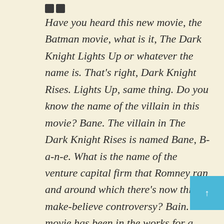Have you heard this new movie, the Batman movie, what is it, The Dark Knight Lights Up or whatever the name is. That's right, Dark Knight Rises. Lights Up, same thing. Do you know the name of the villain in this movie? Bane. The villain in The Dark Knight Rises is named Bane, B-a-n-e. What is the name of the venture capital firm that Romney ran and around which there's now this make-believe controversy? Bain. The movie has been in the works for a long time. The release date's been known, summer 2012 for a long time. Do you think that it is accidental that the name of the really vicious fire breathing four eyed